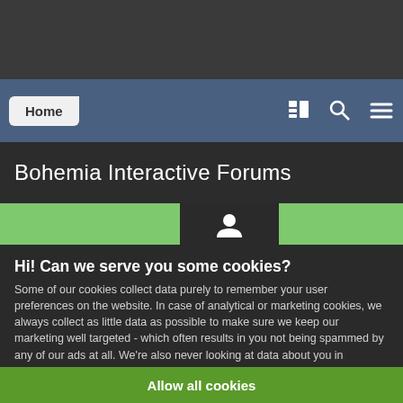[Figure (screenshot): Top dark gray browser/app bar area]
Home
Bohemia Interactive Forums
[Figure (screenshot): Green banner with dark popup tab containing a person/user icon]
Hi! Can we serve you some cookies?
Some of our cookies collect data purely to remember your user preferences on the website. In case of analytical or marketing cookies, we always collect as little data as possible to make sure we keep our marketing well targeted - which often results in you not being spammed by any of our ads at all. We're also never looking at data about you in particular, everything at Bohemia is analyzed in an aggregated form. Learn more
Allow all cookies